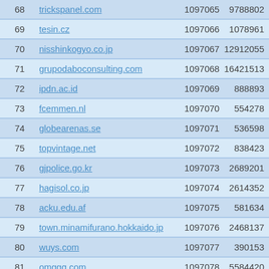| # | Domain | ID | Visits |
| --- | --- | --- | --- |
| 68 | trickspanel.com | 1097065 | 9788802 |
| 69 | tesin.cz | 1097066 | 1078961 |
| 70 | nisshinkogyo.co.jp | 1097067 | 12912055 |
| 71 | grupodaboconsulting.com | 1097068 | 16421513 |
| 72 | ipdn.ac.id | 1097069 | 888893 |
| 73 | fcemmen.nl | 1097070 | 554278 |
| 74 | globearenas.se | 1097071 | 536598 |
| 75 | topvintage.net | 1097072 | 838423 |
| 76 | gjpolice.go.kr | 1097073 | 2689201 |
| 77 | hagisol.co.jp | 1097074 | 2614352 |
| 78 | acku.edu.af | 1097075 | 581634 |
| 79 | town.minamifurano.hokkaido.jp | 1097076 | 2468137 |
| 80 | wuys.com | 1097077 | 390153 |
| 81 | omggq.com | 1097078 | 5584420 |
| 82 | aqcofinance.com | 1097079 | 14939954 |